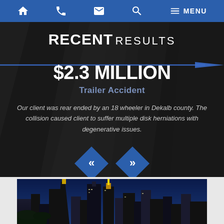Home | Phone | Email | Search | Menu
RECENT RESULTS
$2.3 MILLION
Trailer Accident
Our client was rear ended by an 18 wheeler in Dekalb county. The collision caused client to suffer multiple disk herniations with degenerative issues.
[Figure (other): Navigation arrows (left and right) as blue diamond shapes with white chevron icons]
[Figure (photo): Atlanta city skyline at night with illuminated skyscrapers against a blue sky]